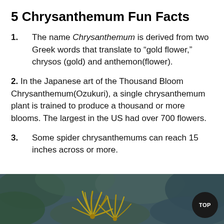5 Chrysanthemum Fun Facts
1.    The name Chrysanthemum is derived from two Greek words that translate to “gold flower,” chrysos (gold) and anthemon(flower).
2. In the Japanese art of the Thousand Bloom Chrysanthemum(Ozukuri), a single chrysanthemum plant is trained to produce a thousand or more blooms. The largest in the US had over 700 flowers.
3.    Some spider chrysanthemums can reach 15 inches across or more.
[Figure (photo): Close-up photo of yellow spider chrysanthemum flowers with blue-green foliage background, with a dark circular TOP button in the bottom right corner.]